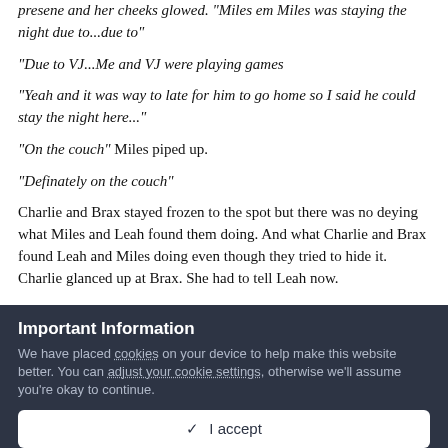presene and her cheeks glowed. "Miles em Miles was staying the night due to...due to"
"Due to VJ...Me and VJ were playing games
"Yeah and it was way to late for him to go home so I said he could stay the night here..."
"On the couch" Miles piped up.
"Definately on the couch"
Charlie and Brax stayed frozen to the spot but there was no deying what Miles and Leah found them doing. And what Charlie and Brax found Leah and Miles doing even though they tried to hide it. Charlie glanced up at Brax. She had to tell Leah now.
Important Information
We have placed cookies on your device to help make this website better. You can adjust your cookie settings, otherwise we'll assume you're okay to continue.
✓  I accept